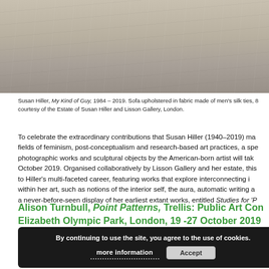[Figure (photo): Partial view of a sofa or textile artwork made of men's silk ties, cropped at bottom, greyish-beige tones]
Susan Hiller, My Kind of Guy, 1984 – 2019. Sofa upholstered in fabric made of men's silk ties, 8... courtesy of the Estate of Susan Hiller and Lisson Gallery, London.
To celebrate the extraordinary contributions that Susan Hiller (1940–2019) made to the fields of feminism, post-conceptualism and research-based art practices, a special selection of photographic works and sculptural objects by the American-born artist will take place this October 2019. Organised collaboratively by Lisson Gallery and her estate, this exhibition is a tribute to Hiller's multi-faceted career, featuring works that explore interconnecting ideas and motifs within her art, such as notions of the interior self, the aura, automatic writing and... a never-before-seen display of her earliest extant works, entitled Studies for 'P...
Alison Turnbull, Point Patterns, Trellis: Public Art Con... Elizabeth Olympic Park, London, 19 -27 October 2019
By continuing to use the site, you agree to the use of cookies.
more information   Accept
[Figure (photo): Bottom portion showing numerical data table or ledger with red and blue numbers in small monospace text]